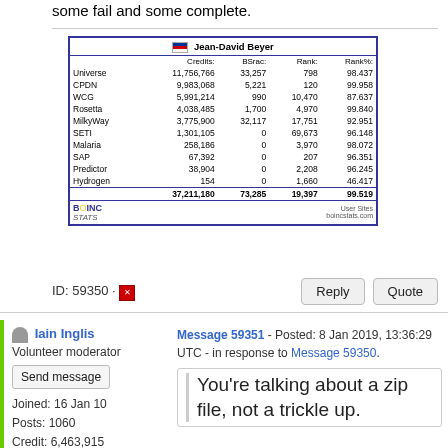some fail and some complete.
[Figure (table-as-image): BOINC Stats table for Jean-David Beyer showing credits, BSrac, Rank, and Rank% across projects including Universe, CPDN, WCG, Rosetta, MilkyWay, SETI, Malaria, SAP, Predictor, Hydrogen. Total: 37,211,180 credits, 73,285 BSrac, 19,397 rank, 99.519 rank%.]
ID: 59350 · Reply Quote
Iain Inglis Volunteer moderator
Message 59351 - Posted: 8 Jan 2019, 13:36:29 UTC - in response to Message 59350.
Send message
Joined: 16 Jan 10
Posts: 1060
Credit: 6,463,915
RAC: 0
You're talking about a zip file, not a trickle up.